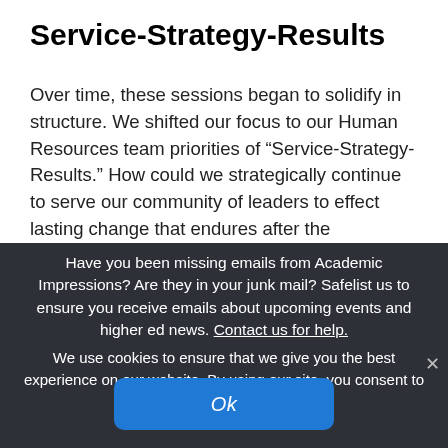Service-Strategy-Results
Over time, these sessions began to solidify in structure. We shifted our focus to our Human Resources team priorities of “Service-Strategy-Results.” How could we strategically continue to serve our community of leaders to effect lasting change that endures after the pandemic? We began to include guest speakers such as members of our Crisis Management Team, our Vice President of Administration,
Have you been missing emails from Academic Impressions? Are they in your junk mail? Safelist us to ensure you receive emails about upcoming events and higher ed news. Contact us for help.
We use cookies to ensure that we give you the best experience on our website. By using our site, you consent to our use of cookies.
Ok